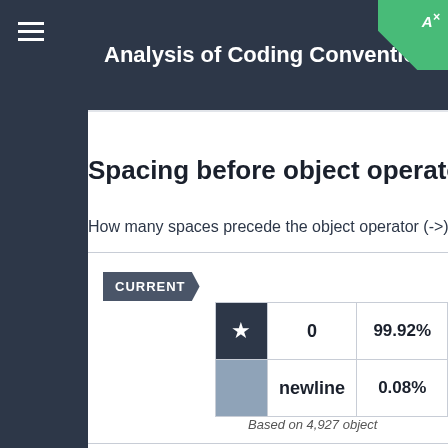Analysis of Coding Conventions for Zend
Spacing before object operator
How many spaces precede the object operator (->)
CURRENT
|  | Value | Percentage |
| --- | --- | --- |
| ★ | 0 | 99.92% |
|  | newline | 0.08% |
Based on 4,927 object